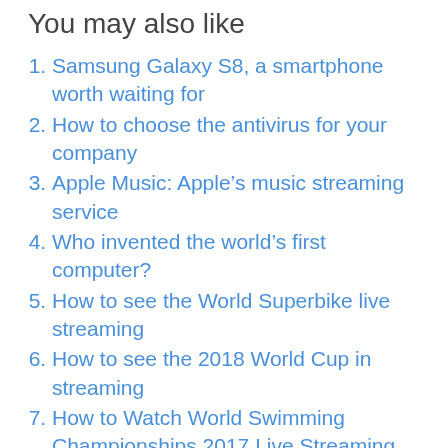You may also like
Samsung Galaxy S8, a smartphone worth waiting for
How to choose the antivirus for your company
Apple Music: Apple's music streaming service
Who invented the world's first computer?
How to see the World Superbike live streaming
How to see the 2018 World Cup in streaming
How to Watch World Swimming Championships 2017 Live Streaming
Cubibot, the world's smallest 3D printer
Who is Chris Dancy, the world's most connected cybernetic man
Super Nintendo World, in the playground